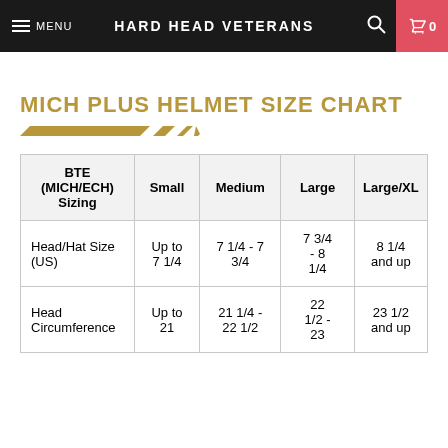MENU  HARD HEAD VETERANS  0
MICH PLUS HELMET SIZE CHART
| BTE (MICH/ECH) Sizing | Small | Medium | Large | Large/XL |
| --- | --- | --- | --- | --- |
| Head/Hat Size (US) | Up to 7 1/4 | 7 1/4 - 7 3/4 | 7 3/4 - 8 1/4 | 8 1/4 and up |
| Head Circumference | Up to 21 | 21 1/4 - 22 1/2 | 22 1/2 - 23 | 23 1/2 and up |